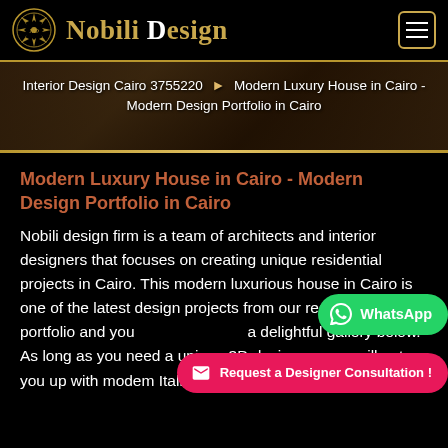Nobili Design
Interior Design Cairo 3755220 ▶ Modern Luxury House in Cairo - Modern Design Portfolio in Cairo
Modern Luxury House in Cairo - Modern Design Portfolio in Cairo
Nobili design firm is a team of architects and interior designers that focuses on creating unique residential projects in Cairo. This modern luxurious house in Cairo is one of the latest design projects from our residential portfolio and you a delightful gallery below. As long as you need a unique 3D desig... will put you up with modem Italian furniture,